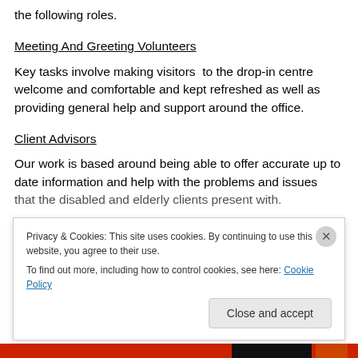the following roles.
Meeting And Greeting Volunteers
Key tasks involve making visitors  to the drop-in centre welcome and comfortable and kept refreshed as well as providing general help and support around the office.
Client Advisors
Our work is based around being able to offer accurate up to date information and help with the problems and issues that the disabled and elderly clients present with.
Privacy & Cookies: This site uses cookies. By continuing to use this website, you agree to their use.
To find out more, including how to control cookies, see here: Cookie Policy
Close and accept